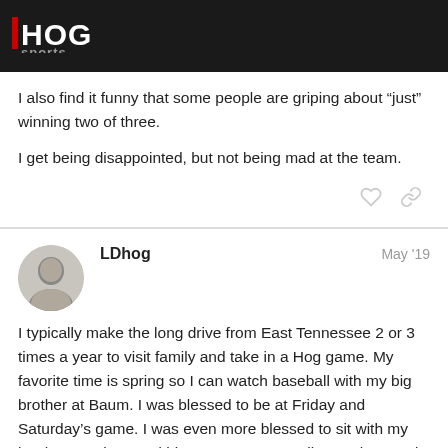HOG sports
I also find it funny that some people are griping about “just” winning two of three.
I get being disappointed, but not being mad at the team.
LDhog   May '19
I typically make the long drive from East Tennessee 2 or 3 times a year to visit family and take in a Hog game. My favorite time is spring so I can watch baseball with my big brother at Baum. I was blessed to be at Friday and Saturday’s game. I was even more blessed to sit with my brother, Nephew and his 2 sons. We are all very close and agreed that losing was secondary to spending time watching the Hogs as a family.
We also were in town to spend time with m
6 / 9